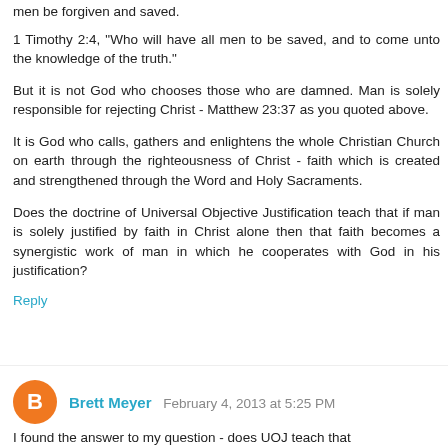men be forgiven and saved.
1 Timothy 2:4, "Who will have all men to be saved, and to come unto the knowledge of the truth."
But it is not God who chooses those who are damned. Man is solely responsible for rejecting Christ - Matthew 23:37 as you quoted above.
It is God who calls, gathers and enlightens the whole Christian Church on earth through the righteousness of Christ - faith which is created and strengthened through the Word and Holy Sacraments.
Does the doctrine of Universal Objective Justification teach that if man is solely justified by faith in Christ alone then that faith becomes a synergistic work of man in which he cooperates with God in his justification?
Reply
Brett Meyer  February 4, 2013 at 5:25 PM
I found the answer to my question - does UOJ teach that